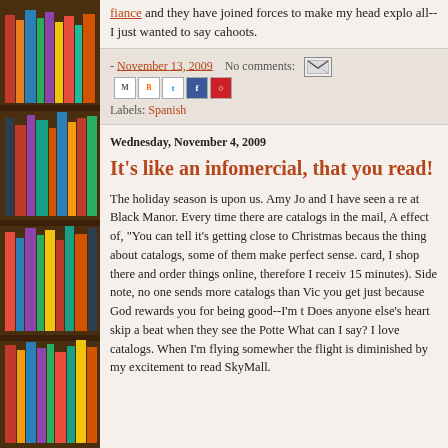[Figure (photo): Bookshelf with colorful books on the left side of the page]
and they have joined forces to make my head explo all--I just wanted to say cahoots.
- November 13, 2009   No comments:
Labels: Spanish
Wednesday, November 4, 2009
It's like an infomercial, that you read!
The holiday season is upon us. Amy Jo and I have seen a re at Black Manor. Every time there are catalogs in the mail, A effect of, "You can tell it's getting close to Christmas becaus the thing about catalogs, some of them make perfect sense. card, I shop there and order things online, therefore I receiv 15 minutes). Side note, no one sends more catalogs than Vic you get just because God rewards you for being good--I'm t Does anyone else's heart skip a beat when they see the Potte What can I say? I love catalogs. When I'm flying somewher the flight is diminished by my excitement to read SkyMall.